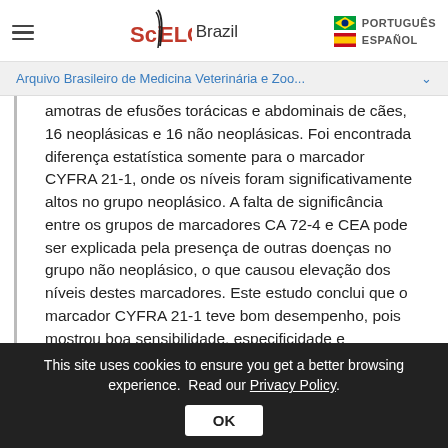SciELO Brazil | PORTUGUÊS | ESPAÑOL
Arquivo Brasileiro de Medicina Veterinária e Zoo...
amotras de efusões torácicas e abdominais de cães, 16 neoplásicas e 16 não neoplásicas. Foi encontrada diferença estatística somente para o marcador CYFRA 21-1, onde os níveis foram significativamente altos no grupo neoplásico. A falta de significância entre os grupos de marcadores CA 72-4 e CEA pode ser explicada pela presença de outras doenças no grupo não neoplásico, o que causou elevação dos níveis destes marcadores. Este estudo conclui que o marcador CYFRA 21-1 teve bom desempenho, pois mostrou boa sensibilidade, especificidade e
This site uses cookies to ensure you get a better browsing experience. Read our Privacy Policy. OK